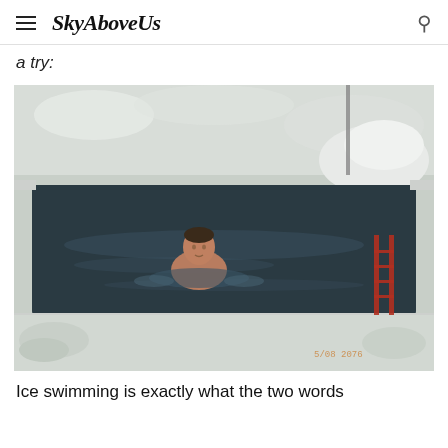SkyAboveUs
a try:
[Figure (photo): A person swimming shirtless in an ice swimming hole cut out of frozen water. Snow and ice surround the rectangular opening. A ladder is visible on the right side. A date stamp appears in the lower right corner.]
Ice swimming is exactly what the two words